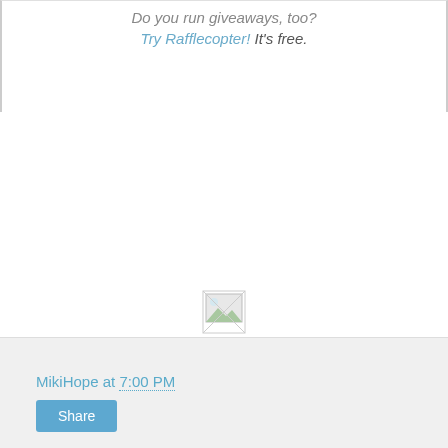Do you run giveaways, too? Try Rafflecopter! It's free.
[Figure (other): Broken image placeholder icon]
I received an entry in the giveaway form for helping to promote this giveaway. All opinions expressed are my own honest opinions. For more information please check my Disclosure Statement. Our giveaways are in no way sponsored or promoted by Facebook or Google.
MikiHope at 7:00 PM | Share